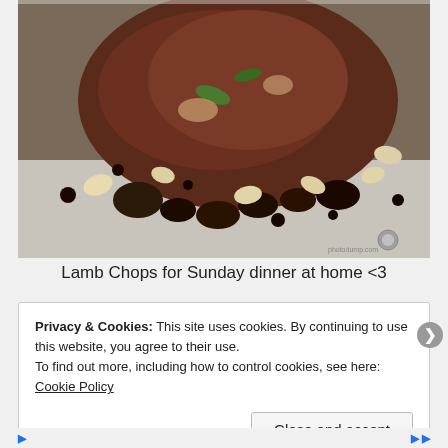[Figure (photo): Close-up overhead photo of lamb chops cooking in a stainless steel pan with garlic, herbs, and charred bits]
Lamb Chops for Sunday dinner at home <3
Privacy & Cookies: This site uses cookies. By continuing to use this website, you agree to their use.
To find out more, including how to control cookies, see here: Cookie Policy
Close and accept